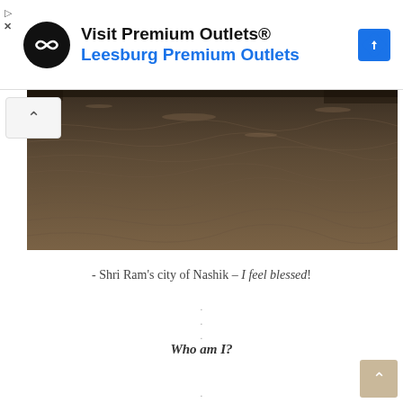[Figure (screenshot): Advertisement banner for Visit Premium Outlets® showing logo icon, text 'Visit Premium Outlets®' and 'Leesburg Premium Outlets' in blue, and a blue navigation diamond icon on the right]
[Figure (photo): Sepia-toned panoramic photo of water surface with ripples, dark brown tones, with people visible at top edges]
- Shri Ram's city of Nashik – I feel blessed!
.
.
.
Who am I?
.